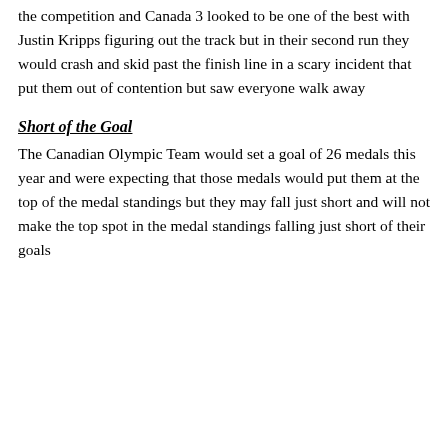the competition and Canada 3 looked to be one of the best with Justin Kripps figuring out the track but in their second run they would crash and skid past the finish line in a scary incident that put them out of contention but saw everyone walk away
Short of the Goal
The Canadian Olympic Team would set a goal of 26 medals this year and were expecting that those medals would put them at the top of the medal standings but they may fall just short and will not make the top spot in the medal standings falling just short of their goals
Privacy & Cookies: This site uses cookies. By continuing to use this website, you agree to their use.
To find out more, including how to control cookies, see here: Cookie Policy